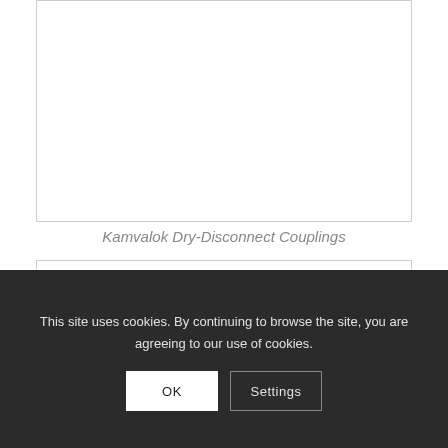[Figure (photo): Image area showing Kamvalok Dry-Disconnect Couplings (top product image, mostly white/blank in this crop)]
Kamvalok Dry-Disconnect Couplings
[Figure (photo): Second product image area (partially visible, bottom box)]
This site uses cookies. By continuing to browse the site, you are agreeing to our use of cookies.